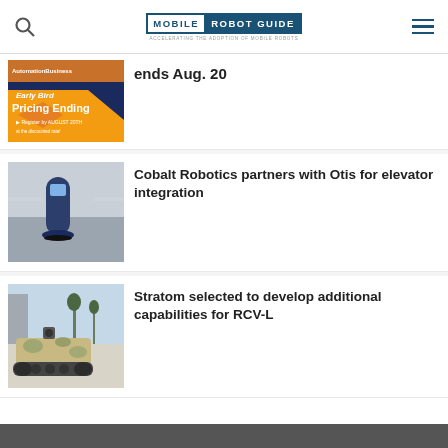Mobile Robot Guide — ACCELERATING THE ADOPTION OF MOBILE ROBOTS
ends Aug. 20
Cobalt Robotics partners with Otis for elevator integration
Stratom selected to develop additional capabilities for RCV-L